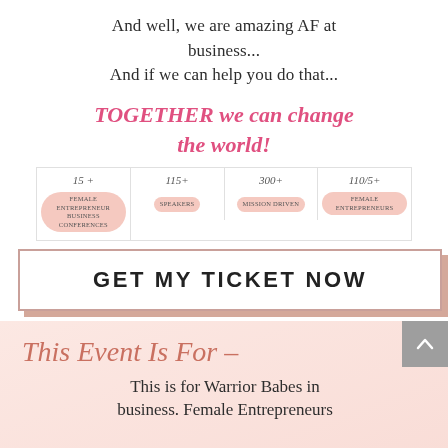And well, we are amazing AF at business...
And if we can help you do that...
TOGETHER we can change the world!
[Figure (infographic): Four stat boxes in a row: 15+ Female Entrepreneur Business Conferences, 115+ Speakers, 300+ Mission Driven, 110/5+ Female Entrepreneurs]
[Figure (other): GET MY TICKET NOW button with pink border and shadow]
[Figure (infographic): Pink background section with cursive heading 'This Event Is For -' and text 'This is for Warrior Babes in business. Female Entrepreneurs...' with a grey back-to-top arrow button]